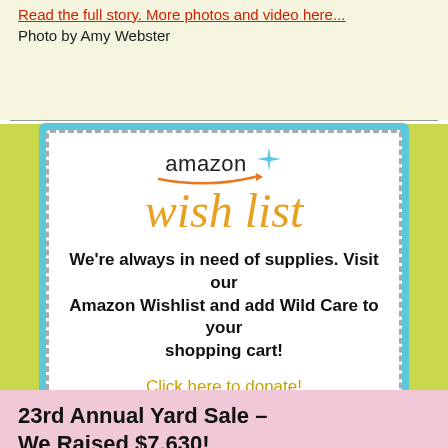Read the full story. More photos and video here...
Photo by Amy Webster
[Figure (illustration): Amazon Wishlist logo with orange 'amazon' text with smile arrow and star sparkle, and large italic orange 'wish list' text]
We're always in need of supplies. Visit our Amazon Wishlist and add Wild Care to your shopping cart!
Click here to donate!
23rd Annual Yard Sale – We Raised $7,630!